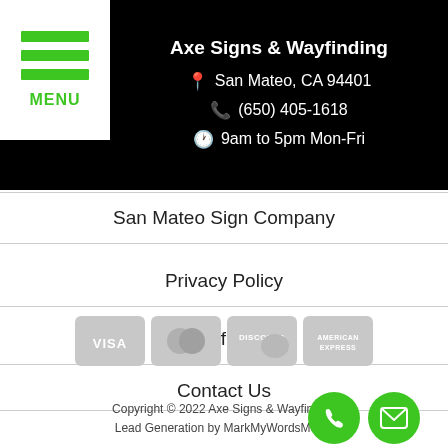[Figure (logo): Green MENU hamburger button on white background, top-left corner]
Axe Signs & Wayfinding
San Mateo, CA 94401
(650) 405-1618
9am to 5pm Mon-Fri
San Mateo Sign Company
Privacy Policy
Terms of Service
Contact Us
[Figure (illustration): Payment method icons: VISA, Mastercard, Discover, American Express in gray]
Copyright © 2022 Axe Signs & Wayfinding
Lead Generation by MarkMyWordsMedia
[Figure (illustration): Green circular phone button and green circular email button, bottom right]